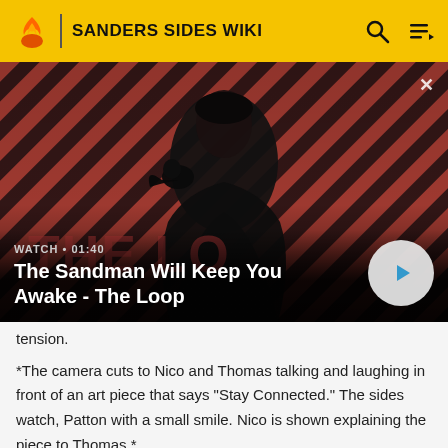SANDERS SIDES WIKI
[Figure (screenshot): Video thumbnail showing a dark-cloaked figure with a raven on shoulder against a red diagonal-striped background. Text overlay: 'WATCH · 01:40 / The Sandman Will Keep You Awake - The Loop' with a play button. Close X button in top right.]
tension.
*The camera cuts to Nico and Thomas talking and laughing in front of an art piece that says "Stay Connected." The sides watch, Patton with a small smile. Nico is shown explaining the piece to Thomas.*